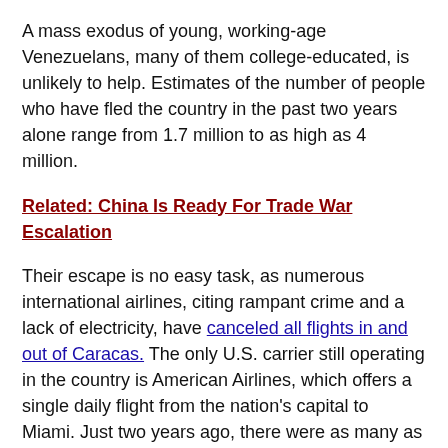A mass exodus of young, working-age Venezuelans, many of them college-educated, is unlikely to help. Estimates of the number of people who have fled the country in the past two years alone range from 1.7 million to as high as 4 million.
Related: China Is Ready For Trade War Escalation
Their escape is no easy task, as numerous international airlines, citing rampant crime and a lack of electricity, have canceled all flights in and out of Caracas. The only U.S. carrier still operating in the country is American Airlines, which offers a single daily flight from the nation's capital to Miami. Just two years ago, there were as many as 40 nonstop American flights, not to mention those of rival carriers, between the two cities—a sign of just how dramatic and swift Maduro's mismanagement has been in crippling Venezuela's once-robust economy.